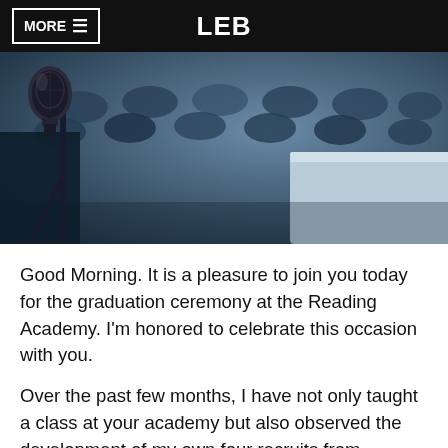MORE ≡   LEB
[Figure (photo): Close-up photo of a microphone on a stand in a conference room or auditorium, with rows of chairs visible in the background. Blue-toned image.]
Good Morning. It is a pleasure to join you today for the graduation ceremony at the Reading Academy. I'm honored to celebrate this occasion with you.
Over the past few months, I have not only taught a class at your academy but also observed the development of my own four recruits from Everett. As usual, I thoroughly enjoyed my time in class with you, and I hope that all your training has helped prepare